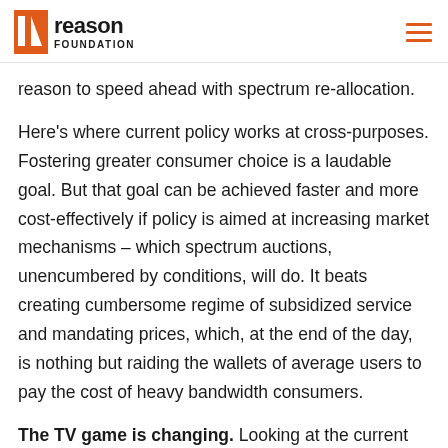Reason Foundation
reason to speed ahead with spectrum re-allocation.
Here's where current policy works at cross-purposes. Fostering greater consumer choice is a laudable goal. But that goal can be achieved faster and more cost-effectively if policy is aimed at increasing market mechanisms – which spectrum auctions, unencumbered by conditions, will do. It beats creating cumbersome regime of subsidized service and mandating prices, which, at the end of the day, is nothing but raiding the wallets of average users to pay the cost of heavy bandwidth consumers.
The TV game is changing. Looking at the current